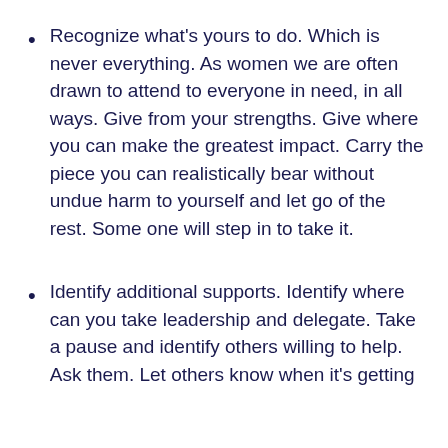Recognize what's yours to do. Which is never everything.  As women we are often drawn to attend to everyone in need, in all ways.  Give from your strengths. Give where you can make the greatest impact. Carry the piece you can realistically bear without undue harm to yourself and let go of the rest. Some one will step in to take it.
Identify additional supports.  Identify where can you take leadership and delegate. Take a pause and identify others willing to help. Ask them. Let others know when it's getting